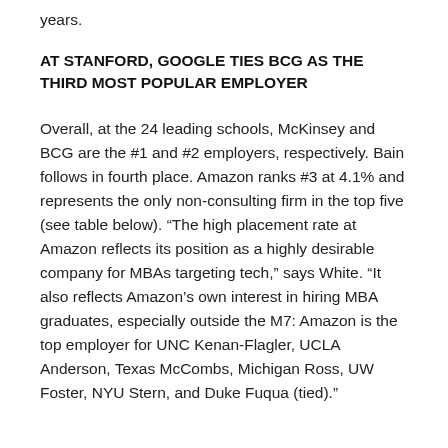years.
AT STANFORD, GOOGLE TIES BCG AS THE THIRD MOST POPULAR EMPLOYER
Overall, at the 24 leading schools, McKinsey and BCG are the #1 and #2 employers, respectively. Bain follows in fourth place. Amazon ranks #3 at 4.1% and represents the only non-consulting firm in the top five (see table below). “The high placement rate at Amazon reflects its position as a highly desirable company for MBAs targeting tech,” says White. “It also reflects Amazon’s own interest in hiring MBA graduates, especially outside the M7: Amazon is the top employer for UNC Kenan-Flagler, UCLA Anderson, Texas McCombs, Michigan Ross, UW Foster, NYU Stern, and Duke Fuqua (tied).”